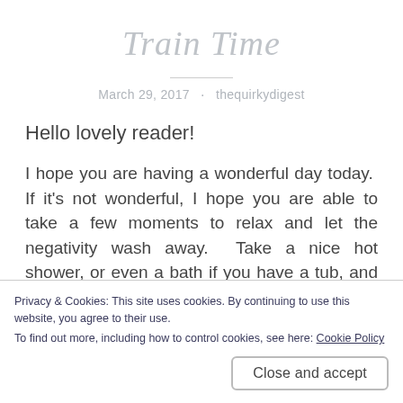Train Time
March 29, 2017 · thequirkydigest
Hello lovely reader!
I hope you are having a wonderful day today.  If it's not wonderful, I hope you are able to take a few moments to relax and let the negativity wash away.  Take a nice hot shower, or even a bath if you have a tub, and just
Privacy & Cookies: This site uses cookies. By continuing to use this website, you agree to their use.
To find out more, including how to control cookies, see here: Cookie Policy
Close and accept